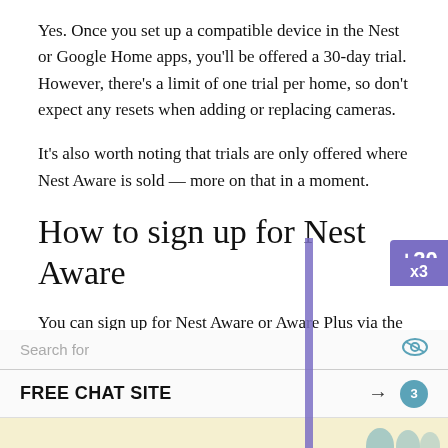Yes. Once you set up a compatible device in the Nest or Google Home apps, you'll be offered a 30-day trial. However, there's a limit of one trial per home, so don't expect any resets when adding or replacing cameras.
It's also worth noting that trials are only offered where Nest Aware is sold — more on that in a moment.
How to sign up for Nest Aware
You can sign up for Nest Aware or Aware Plus via the Google Store or via the Google Home app on Android devices. In the second scenario, tap the Settings (gear icon) button, select Features, and then Nest Aware.
The following regions have access to Aware:
[Figure (screenshot): Advertisement overlay showing a search bar with 'Search for' placeholder text and an eye icon, followed by a 'FREE CHAT SITE' row with an arrow button and notification badge, on a yellow-cream background.]